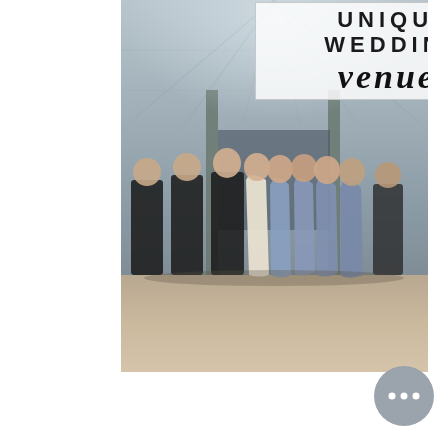[Figure (photo): A wedding party group photo taken inside a large industrial venue with a glass and steel ceiling/skylight. Groomsmen in black suits and bridesmaids in blue/dusty-blue dresses stand together laughing and smiling. The bride wears a white dress. The floor is light-colored concrete. Overlaid on the top portion is a semi-transparent white box with the text 'UNIQUE WEDDING venues'.]